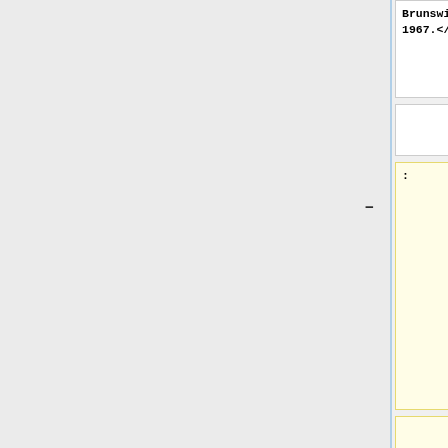|  | Col1 | Col2 |
| --- | --- | --- |
|  | Brunswick,
1967.</span> | Brunswick,
1967.</span> |
|  |  |  |
| : |  | <br/>--
[[User:Holly
Miller|Holly
Miller]] 28
November
2013 (ADT)
{{Copyright}
}<br/><br/>
<br/> |
|  |  | [[Category:F
aculty of
Science|Phys
ics]]<br/>
[[Category:D
epartment of
Physics|Phys
ics]]<br/> |